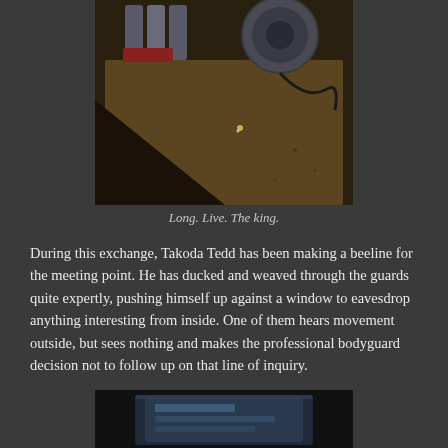[Figure (photo): Aerial/overhead view of industrial or mechanical equipment on a dark surface, including pipes or tubes and what appears to be a motor or machinery component]
Long. Live. The king.
During this exchange, Takoda Tedd has been making a beeline for the meeting point. He has ducked and weaved through the guards quite expertly, pushing himself up against a window to eavesdrop anything interesting from inside. One of them hears movement outside, but sees nothing and makes the professional bodyguard decision not to follow up on that line of inquiry.
[Figure (photo): Partial view of what appears to be a box or package with text/logo on dark background]